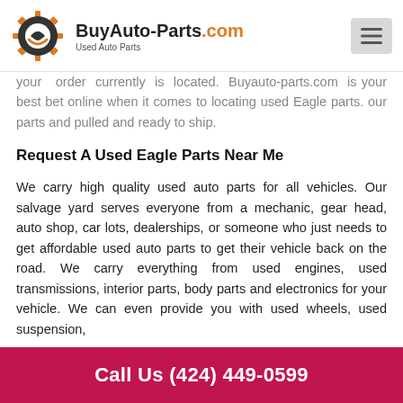BuyAuto-Parts.com Used Auto Parts
your order currently is located. Buyauto-parts.com is your best bet online when it comes to locating used Eagle parts. our parts and pulled and ready to ship.
Request A Used Eagle Parts Near Me
We carry high quality used auto parts for all vehicles. Our salvage yard serves everyone from a mechanic, gear head, auto shop, car lots, dealerships, or someone who just needs to get affordable used auto parts to get their vehicle back on the road. We carry everything from used engines, used transmissions, interior parts, body parts and electronics for your vehicle. We can even provide you with used wheels, used suspension,
Call Us (424) 449-0599